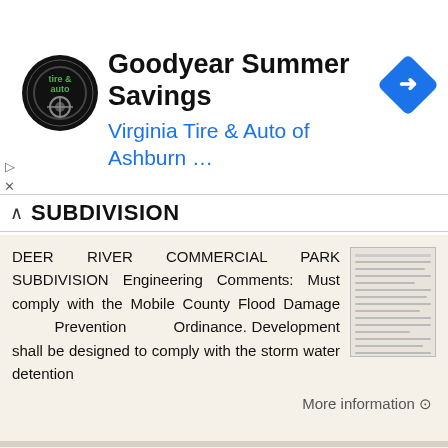[Figure (screenshot): Advertisement banner for Goodyear Summer Savings - Virginia Tire & Auto of Ashburn with logo and directional icon]
SUBDIVISION
DEER RIVER COMMERCIAL PARK SUBDIVISION Engineering Comments: Must comply with the Mobile County Flood Damage Prevention Ordinance. Development shall be designed to comply with the storm water detention
More information →
PLANNED UNIT DEVELOPMENT STAFF REPORT Date: October 19, 2017
PLANNED UNIT DEVELOPMENT STAFF REPORT Date: October 19, 2017 DEVELOPMENT NAME LOCATION Custom Boat Storage 3975 Demetropolis Road